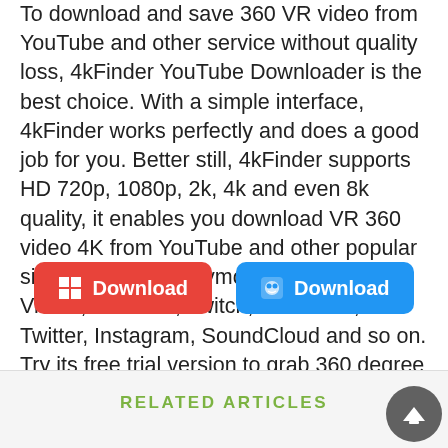To download and save 360 VR video from YouTube and other service without quality loss, 4kFinder YouTube Downloader is the best choice. With a simple interface, 4kFinder works perfectly and does a good job for you. Better still, 4kFinder supports HD 720p, 1080p, 2k, 4k and even 8k quality, it enables you download VR 360 video 4K from YouTube and other popular sites, including Dailymotion, Vevo, Veoh, Vimeo, Niconico, Twitch, Facebook, Twitter, Instagram, SoundCloud and so on. Try its free trial version to grab 360 degree video from YouTube now!
[Figure (other): Red Download button for Windows with Windows icon]
[Figure (other): Blue Download button for Mac with Finder icon]
RELATED ARTICLES